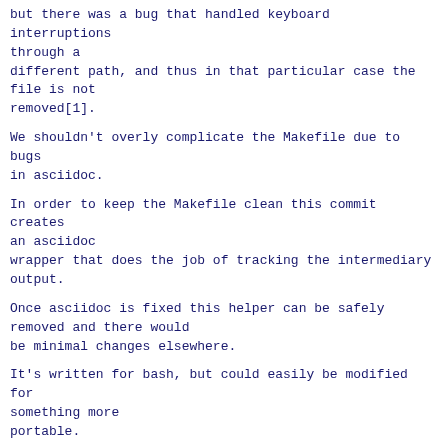but there was a bug that handled keyboard interruptions
through a
different path, and thus in that particular case the
file is not
removed[1].
We shouldn't overly complicate the Makefile due to bugs
in asciidoc.
In order to keep the Makefile clean this commit creates
an asciidoc
wrapper that does the job of tracking the intermediary
output.
Once asciidoc is fixed this helper can be safely
removed and there would
be minimal changes elsewhere.
It's written for bash, but could easily be modified for
something more
portable.
[1] https://github.com/asciidoc-py/asciidoc-py/pull/195
Signed-off-by: Felipe Contreras
<felipe.contreras@gmail.com>
---
 Documentation/Makefile          | 27 +++++++++--------
-----------
 Documentation/asciidoc-helper.sh | 18